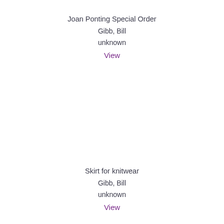Joan Ponting Special Order
Gibb, Bill
unknown
View
Skirt for knitwear
Gibb, Bill
unknown
View